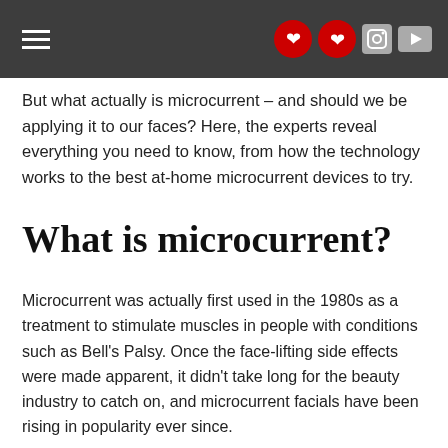Navigation header with hamburger menu and social/flag icons
But what actually is microcurrent – and should we be applying it to our faces? Here, the experts reveal everything you need to know, from how the technology works to the best at-home microcurrent devices to try.
What is microcurrent?
Microcurrent was actually first used in the 1980s as a treatment to stimulate muscles in people with conditions such as Bell's Palsy. Once the face-lifting side effects were made apparent, it didn't take long for the beauty industry to catch on, and microcurrent facials have been rising in popularity ever since.